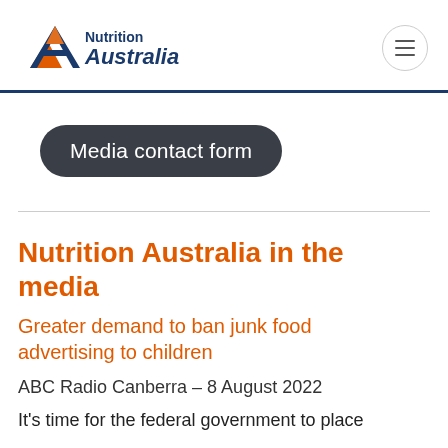[Figure (logo): Nutrition Australia logo with triangle/mountain icon in orange and blue, text 'Nutrition Australia' in navy blue]
Media contact form
Nutrition Australia in the media
Greater demand to ban junk food advertising to children
ABC Radio Canberra – 8 August 2022
It's time for the federal government to place